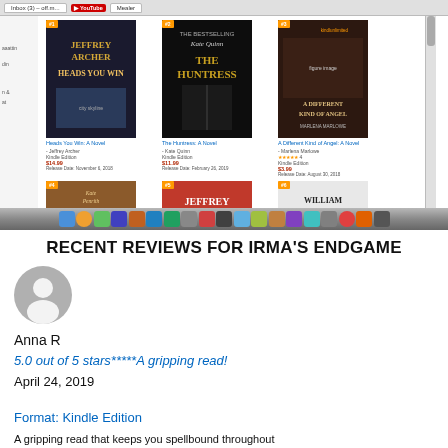[Figure (screenshot): Amazon Kindle book store screenshot showing 6 book covers in a 3x2 grid including Jeffrey Archer Heads You Win, Kate Quinn The Huntress, A Different Kind of Angel, Survivors, Jeffrey Archer Heads You Win, and William Boyd Love is Blind. Browser bar visible at top, macOS dock visible at bottom.]
RECENT REVIEWS FOR IRMA'S ENDGAME
[Figure (photo): Grey circular user avatar icon with person silhouette]
Anna R
5.0 out of 5 stars*****A gripping read!
April 24, 2019
Format: Kindle Edition
A gripping read that keeps you spellbound throughout